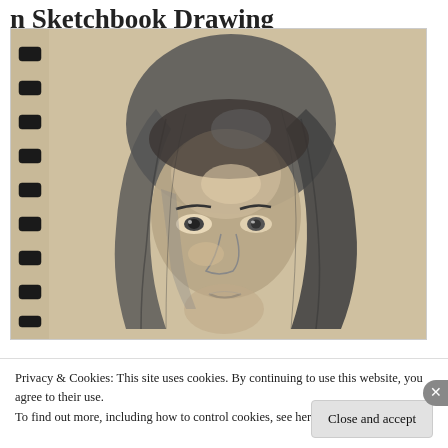n Sketchbook Drawing
[Figure (illustration): A charcoal or pencil sketch portrait drawing of a woman with long dark hair, shown from the shoulders up, on a spiral-bound sketchbook. The drawing is rendered in grey and sepia tones on aged paper.]
Privacy & Cookies: This site uses cookies. By continuing to use this website, you agree to their use.
To find out more, including how to control cookies, see here: Cookie Policy
Close and accept